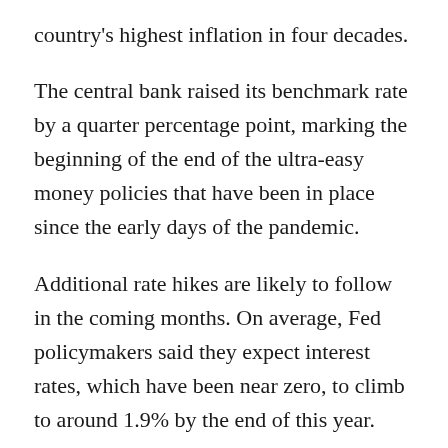country's highest inflation in four decades.
The central bank raised its benchmark rate by a quarter percentage point, marking the beginning of the end of the ultra-easy money policies that have been in place since the early days of the pandemic.
Additional rate hikes are likely to follow in the coming months. On average, Fed policymakers said they expect interest rates, which have been near zero, to climb to around 1.9% by the end of this year.
"As I looked around the table at today's meeting, I saw a committee that's acutely aware of the need to return the economy to price stability and determined to use our tools to do exactly that," Fed chairman Jerome Powell told reporters